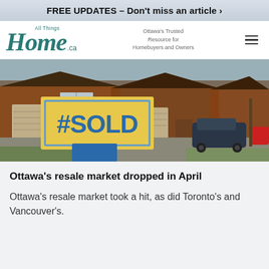FREE UPDATES – Don't miss an article >
[Figure (logo): All Things Home.ca logo with tagline: Ottawa's Trusted Resource for Homebuyers and Owners]
[Figure (photo): Photo of suburban townhouses with a real estate sign reading #SOLD in the foreground, with cars parked in driveways]
Ottawa's resale market dropped in April
Ottawa's resale market took a hit, as did Toronto's and Vancouver's.